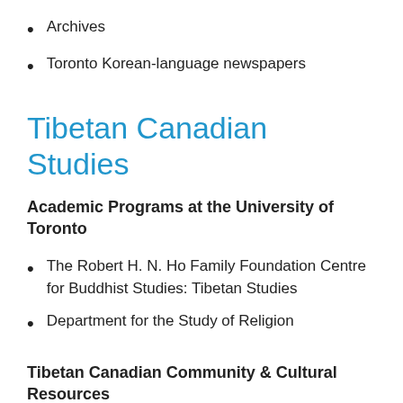Archives
Toronto Korean-language newspapers
Tibetan Canadian Studies
Academic Programs at the University of Toronto
The Robert H. N. Ho Family Foundation Centre for Buddhist Studies: Tibetan Studies
Department for the Study of Religion
Tibetan Canadian Community & Cultural Resources
The Chyscom Project (extensive archival